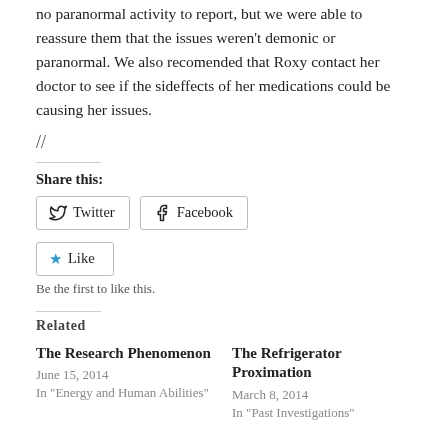no paranormal activity to report, but we were able to reassure them that the issues weren't demonic or paranormal. We also recomended that Roxy contact her doctor to see if the sideffects of her medications could be causing her issues.
//
Share this:
[Figure (other): Twitter and Facebook share buttons]
[Figure (other): Like button with star icon]
Be the first to like this.
Related
The Research Phenomenon
June 15, 2014
In "Energy and Human Abilities"
The Refrigerator Proximation
March 8, 2014
In "Past Investigations"